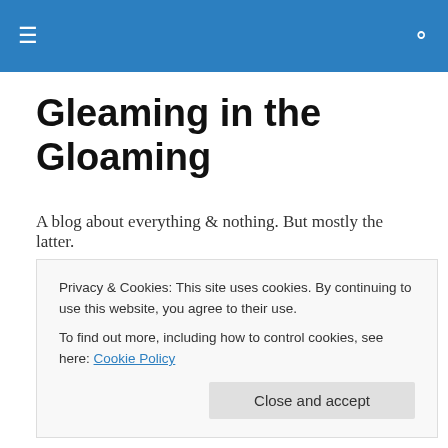☰ [menu icon] | 🔍 [search icon]
Gleaming in the Gloaming
A blog about everything & nothing. But mostly the latter.
TAGGED WITH EGYPT
Purposefulness & Pyramids
So in order to try and prevent any creative blockages that
Privacy & Cookies: This site uses cookies. By continuing to use this website, you agree to their use.
To find out more, including how to control cookies, see here: Cookie Policy
[Close and accept]